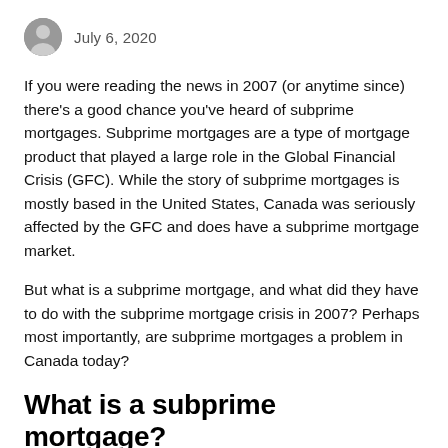July 6, 2020
If you were reading the news in 2007 (or anytime since) there's a good chance you've heard of subprime mortgages. Subprime mortgages are a type of mortgage product that played a large role in the Global Financial Crisis (GFC). While the story of subprime mortgages is mostly based in the United States, Canada was seriously affected by the GFC and does have a subprime mortgage market.
But what is a subprime mortgage, and what did they have to do with the subprime mortgage crisis in 2007? Perhaps most importantly, are subprime mortgages a problem in Canada today?
What is a subprime mortgage?
A subprime mortgage is any mortgage issued to an individual who is at a higher risk of not being able to